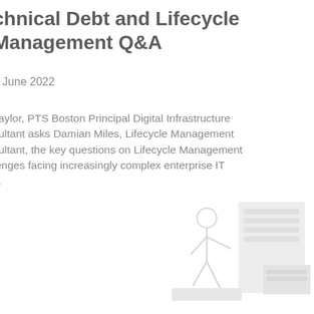Technical Debt and Lifecycle Management Q&A
d June 2022
Taylor, PTS Boston Principal Digital Infrastructure sultant asks Damian Miles, Lifecycle Management sultant, the key questions on Lifecycle Management lenges facing increasingly complex enterprise IT s.
[Figure (illustration): Faded illustration of a person walking/working near server rack or equipment boxes, light gray on white background]